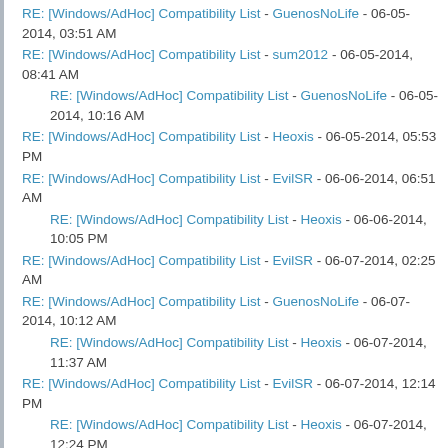RE: [Windows/AdHoc] Compatibility List - GuenosNoLife - 06-05-2014, 03:51 AM
RE: [Windows/AdHoc] Compatibility List - sum2012 - 06-05-2014, 08:41 AM
RE: [Windows/AdHoc] Compatibility List - GuenosNoLife - 06-05-2014, 10:16 AM
RE: [Windows/AdHoc] Compatibility List - Heoxis - 06-05-2014, 05:53 PM
RE: [Windows/AdHoc] Compatibility List - EvilSR - 06-06-2014, 06:51 AM
RE: [Windows/AdHoc] Compatibility List - Heoxis - 06-06-2014, 10:05 PM
RE: [Windows/AdHoc] Compatibility List - EvilSR - 06-07-2014, 02:25 AM
RE: [Windows/AdHoc] Compatibility List - GuenosNoLife - 06-07-2014, 10:12 AM
RE: [Windows/AdHoc] Compatibility List - Heoxis - 06-07-2014, 11:37 AM
RE: [Windows/AdHoc] Compatibility List - EvilSR - 06-07-2014, 12:14 PM
RE: [Windows/AdHoc] Compatibility List - Heoxis - 06-07-2014, 12:24 PM
RE: [Windows/AdHoc] Compatibility List - GuenosNoLife - 06-07-2014, 09:30 PM
RE: [Windows/AdHoc] Compatibility List - Heoxis - 06-08-2014,